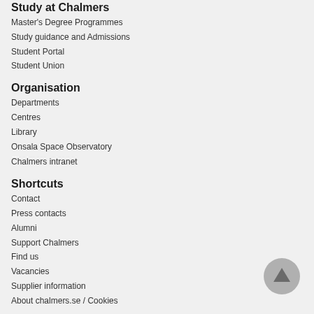Study at Chalmers
Master's Degree Programmes
Study guidance and Admissions
Student Portal
Student Union
Organisation
Departments
Centres
Library
Onsala Space Observatory
Chalmers intranet
Shortcuts
Contact
Press contacts
Alumni
Support Chalmers
Find us
Vacancies
Supplier information
About chalmers.se / Cookies
[Figure (illustration): Grey circular scroll-to-top button with an upward arrow icon]